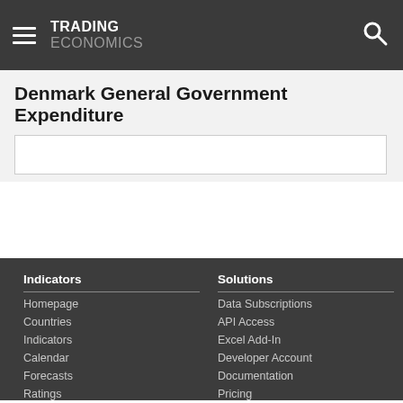TRADING ECONOMICS
Denmark General Government Expenditure
[Figure (other): Chart placeholder box for Denmark General Government Expenditure chart]
Indicators
Homepage
Countries
Indicators
Calendar
Forecasts
Ratings
Solutions
Data Subscriptions
API Access
Excel Add-In
Developer Account
Documentation
Pricing